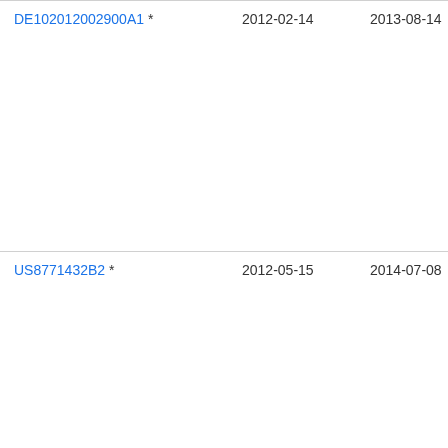| Publication number | Filing date | Publication date | Assignee |
| --- | --- | --- | --- |
| DE102012002900A1 * | 2012-02-14 | 2013-08-14 | Ant... |
| US8771432B2 * | 2012-05-15 | 2014-07-08 | Eco... Sci... Ltd... |